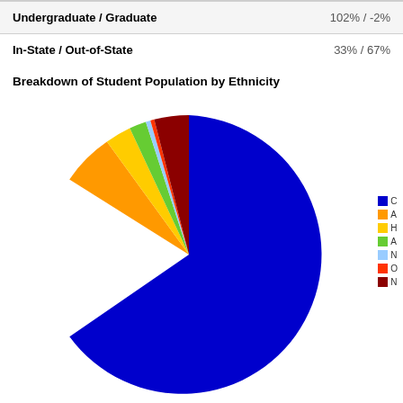| Category | Value |
| --- | --- |
| Undergraduate / Graduate | 102% / -2% |
| In-State / Out-of-State | 33% / 67% |
Breakdown of Student Population by Ethnicity
[Figure (pie-chart): Breakdown of Student Population by Ethnicity]